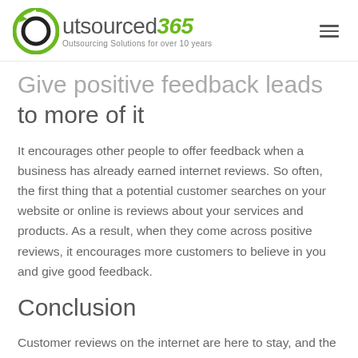outsourced365 — Outsourcing Solutions for over 10 years
Give positive feedback leads to more of it
It encourages other people to offer feedback when a business has already earned internet reviews. So often, the first thing that a potential customer searches on your website or online is reviews about your services and products. As a result, when they come across positive reviews, it encourages more customers to believe in you and give good feedback.
Conclusion
Customer reviews on the internet are here to stay, and the longer you take to focus on them, the more is the risk of losing. Internet reviews are presently one of the most incredible ways of